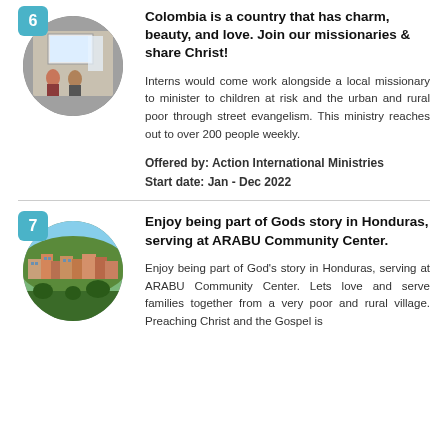Colombia is a country that has charm, beauty, and love. Join our missionaries & share Christ!
[Figure (photo): Circular photo of two people in front of a projection screen, numbered 6]
Interns would come work alongside a local missionary to minister to children at risk and the urban and rural poor through street evangelism. This ministry reaches out to over 200 people weekly.
Offered by: Action International Ministries
Start date: Jan - Dec 2022
Enjoy being part of Gods story in Honduras, serving at ARABU Community Center.
[Figure (photo): Circular photo of a hillside village, numbered 7]
Enjoy being part of God's story in Honduras, serving at ARABU Community Center. Lets love and serve families together from a very poor and rural village. Preaching Christ and the Gospel is...